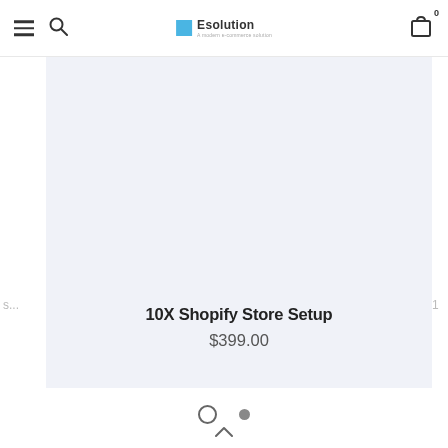Esolution — A modern e-commerce solution
[Figure (screenshot): Esolution e-commerce website screenshot showing a product carousel with a product card for '10X Shopify Store Setup' priced at $399.00, with navigation header showing hamburger menu, search icon, logo, and cart icon with 0 items. Below the card are carousel pagination dots and an up arrow.]
10X Shopify Store Setup
$399.00